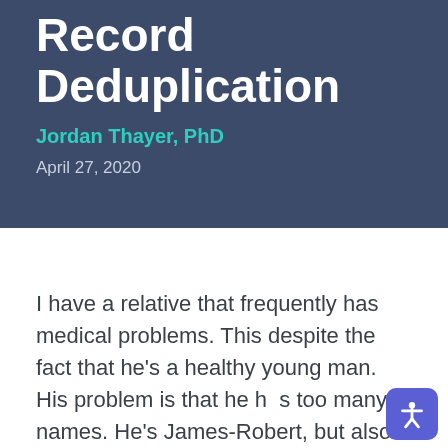Record Deduplication
Jordan Thayer, PhD
April 27, 2020
I have a relative that frequently has medical problems. This despite the fact that he's a healthy young man. His problem is that he has too many names. He's James-Robert, but also...